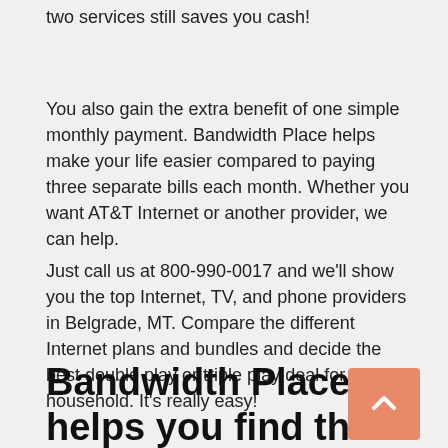two services still saves you cash!
You also gain the extra benefit of one simple monthly payment. Bandwidth Place helps make your life easier compared to paying three separate bills each month. Whether you want AT&T Internet or another provider, we can help.
Just call us at 800-990-0017 and we’ll show you the top Internet, TV, and phone providers in Belgrade, MT. Compare the different Internet plans and bundles and decide the best double play or triple play deal for your household. It’s really easy!
Bandwidth Place helps you find the Best Deals on Internet, TV, and Phone